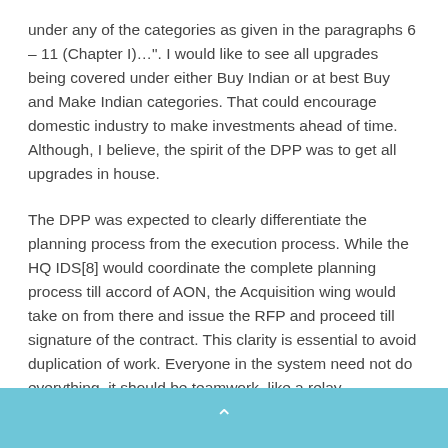under any of the categories as given in the paragraphs 6 – 11 (Chapter I)…". I would like to see all upgrades being covered under either Buy Indian or at best Buy and Make Indian categories. That could encourage domestic industry to make investments ahead of time. Although, I believe, the spirit of the DPP was to get all upgrades in house.
The DPP was expected to clearly differentiate the planning process from the execution process. While the HQ IDS[8] would coordinate the complete planning process till accord of AON, the Acquisition wing would take on from there and issue the RFP and proceed till signature of the contract. This clarity is essential to avoid duplication of work. Everyone in the system need not do everything, it should be teamwork, like a relay
^